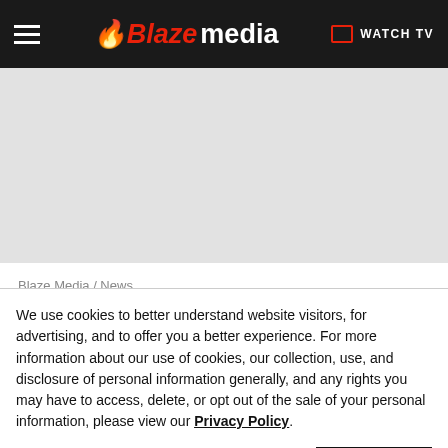Blaze media — WATCH TV
[Figure (other): Gray advertisement/placeholder area]
Blaze Media / News
Record number of tourists flocked to Florida in 2021. Gov. DeSantis says if free state...
We use cookies to better understand website visitors, for advertising, and to offer you a better experience. For more information about our use of cookies, our collection, use, and disclosure of personal information generally, and any rights you may have to access, delete, or opt out of the sale of your personal information, please view our Privacy Policy.
Learn more | CLOSE